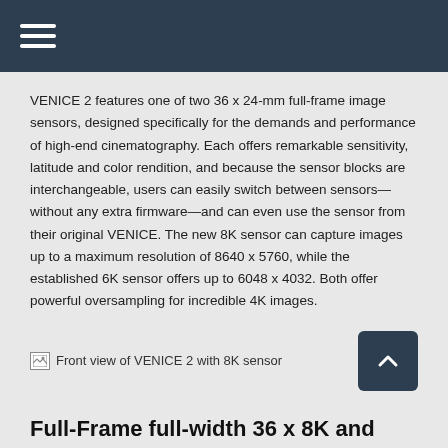☰
VENICE 2 features one of two 36 x 24-mm full-frame image sensors, designed specifically for the demands and performance of high-end cinematography. Each offers remarkable sensitivity, latitude and color rendition, and because the sensor blocks are interchangeable, users can easily switch between sensors—without any extra firmware—and can even use the sensor from their original VENICE. The new 8K sensor can capture images up to a maximum resolution of 8640 x 5760, while the established 6K sensor offers up to 6048 x 4032. Both offer powerful oversampling for incredible 4K images.
[Figure (photo): Front view of VENICE 2 with 8K sensor]
Full-Frame full-width 36 x 8K and